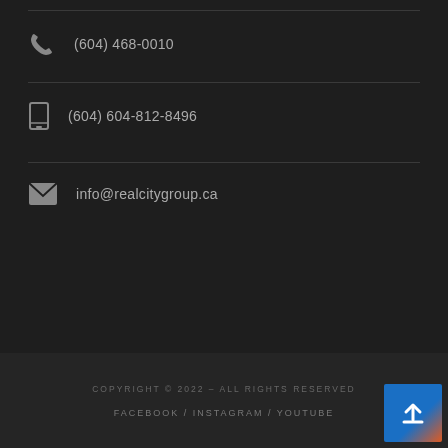(604) 468-0010
(604) 604-812-8496
info@realcitygroup.ca
COPYRIGHT © 2022 – ALL RIGHTS RESERVED
FACEBOOK / INSTAGRAM / YOUTUBE